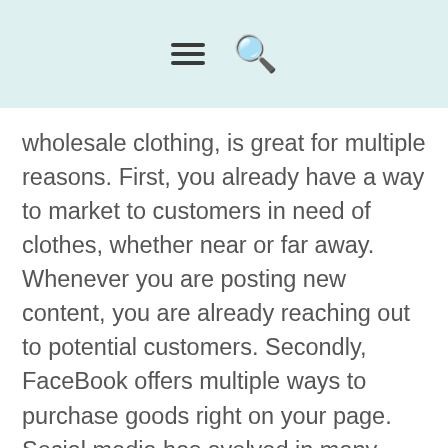[hamburger menu icon] [search icon]
wholesale clothing, is great for multiple reasons. First, you already have a way to market to customers in need of clothes, whether near or far away. Whenever you are posting new content, you are already reaching out to potential customers. Secondly, FaceBook offers multiple ways to purchase goods right on your page. Social media has evolved in many ways to add convenience for many users to help them make purchases easier than ever before.
Users nowadays are constantly looking for new clothes in more places than just Google, so there happens to be many opportunities where they can find or come across stores right on FaceBook, and not just business or social media